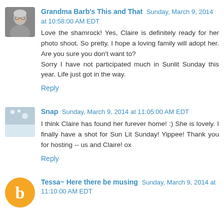[Figure (photo): Avatar photo of Grandma Barb, elderly woman, grayscale]
Grandma Barb's This and That Sunday, March 9, 2014 at 10:58:00 AM EDT
Love the shamrock! Yes, Claire is definitely ready for her photo shoot. So pretty. I hope a loving family will adopt her. Are you sure you don't want to?
Sorry I have not participated much in Sunlit Sunday this year. Life just got in the way.
Reply
[Figure (photo): Avatar photo of Snap, light blue/winter scene]
Snap Sunday, March 9, 2014 at 11:05:00 AM EDT
I think Claire has found her furever home! :) She is lovely. I finally have a shot for Sun Lit Sunday! Yippee! Thank you for hosting -- us and Claire! ox
Reply
[Figure (logo): Blogger B logo orange circle]
Tessa~ Here there be musing Sunday, March 9, 2014 at 11:10:00 AM EDT